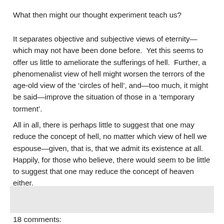What then might our thought experiment teach us?
It separates objective and subjective views of eternity—which may not have been done before.  Yet this seems to offer us little to ameliorate the sufferings of hell.  Further, a phenomenalist view of hell might worsen the terrors of the age-old view of the ‘circles of hell’, and—too much, it might be said—improve the situation of those in a ‘temporary torment’.
All in all, there is perhaps little to suggest that one may reduce the concept of hell, no matter which view of hell we espouse—given, that is, that we admit its existence at all. Happily, for those who believe, there would seem to be little to suggest that one may reduce the concept of heaven either.
[Figure (other): Gray shaded comment box area]
18 comments: